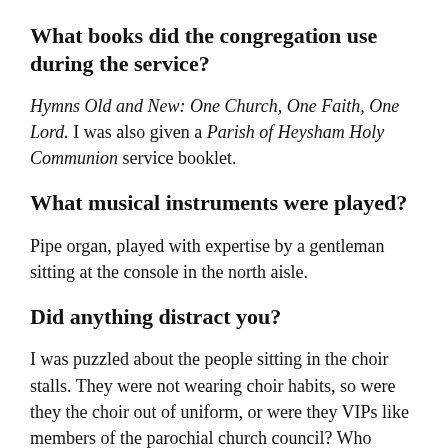What books did the congregation use during the service?
Hymns Old and New: One Church, One Faith, One Lord. I was also given a Parish of Heysham Holy Communion service booklet.
What musical instruments were played?
Pipe organ, played with expertise by a gentleman sitting at the console in the north aisle.
Did anything distract you?
I was puzzled about the people sitting in the choir stalls. They were not wearing choir habits, so were they the choir out of uniform, or were they VIPs like members of the parochial church council? Who knows?